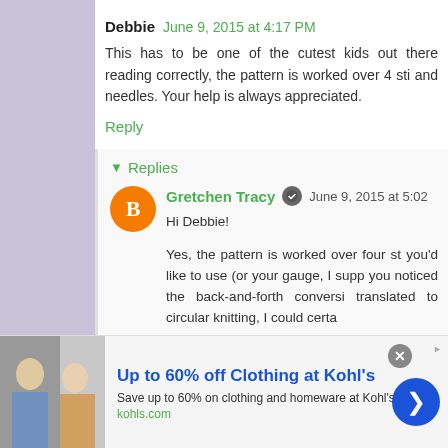Debbie  June 9, 2015 at 4:17 PM
This has to be one of the cutest kids out there... reading correctly, the pattern is worked over 4 sti... and needles. Your help is always appreciated.
Reply
Replies
Gretchen Tracy  June 9, 2015 at 5:02...
Hi Debbie!
Yes, the pattern is worked over four st... you'd like to use (or your gauge, I supp... you noticed the back-and-forth conversi... translated to circular knitting, I could certa...
[Figure (screenshot): Advertisement banner: Up to 60% off Clothing at Kohl's. Shows a Kohl's ad with image of people, bold blue title, description text, and kohls.com link. Includes close button and blue arrow button.]